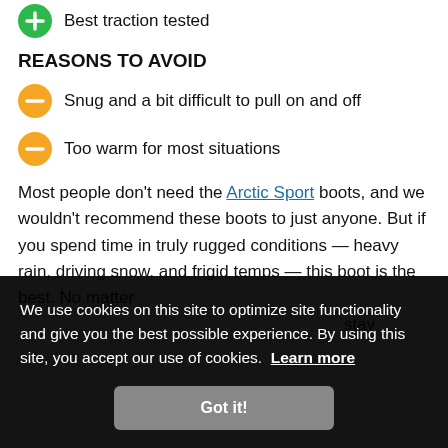Best traction tested
REASONS TO AVOID
Snug and a bit difficult to pull on and off
Too warm for most situations
Most people don't need the Arctic Sport boots, and we wouldn't recommend these boots to just anyone. But if you spend time in truly rugged conditions — heavy rain, driving snow, and frigid temps — this boot is the best. No matter ... stay ... all ... so ... king to ... them
We use cookies on this site to optimize site functionality and give you the best possible experience. By using this site, you accept our use of cookies. Learn more